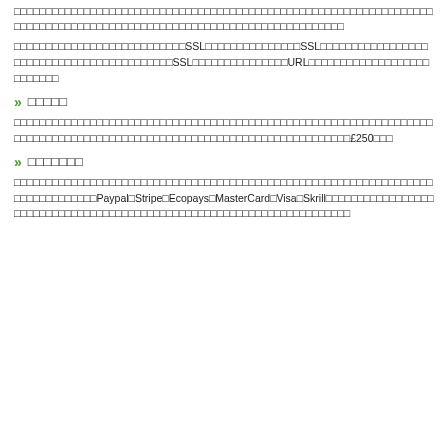□□□□□□□□□□□□□□□□□□□□□□□□□□□□□□□□□□□□□□□□□□□□□□□□□□□□□□□□□□□□□□□□□□□□□□□□□□□□□□□□□□□□□□□□□□□□□□□□□□□□□□□□□□□□□□□□□□□□□□
□□□□□□□□□□□□□□□□□□□□□□□□□□□SSL□□□□□□□□□□□□□□□SSL□□□□□□□□□□□□□□□□□□□□□□□□□□□□□□□□□□□□□□□□□□SSL□□□□□□□□□□□□□□□URL□□□□□□□□□□□□□□□□□□□□□□□□□□
□□□□□
□□□□□□□□□□□□□□□□□□□□□□□□□□□□□□□□□□□□□□□□□□□□□□□□□□□□□□□□□□□□□□□□□□□□□□□□□□□□□□□□□□□□□□□□□□□□□□□□□□□□□□□□□□□□□□□□□□□□□□□£250□□□
□□□□□□□
□□□□□□□□□□□□□□□□□□□□□□□□□□□□□□□□□□□□□□□□□□□□□□□□□□□□□□□□□□□□□□□□□□□□□□□□□□□□□□□Paypal□Stripe□Ecopays□MasterCard□Visa□Skrill□□□□□□□□□□□□□□□□□□□□□□□□□□□□□□□□□□□□□□□□□□□□□□□□□□□□□□□□□□□□□□□□□□□□□□